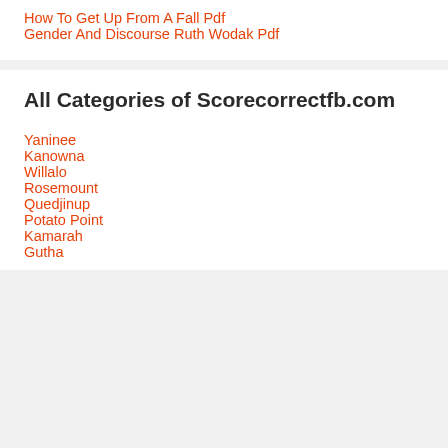How To Get Up From A Fall Pdf
Gender And Discourse Ruth Wodak Pdf
All Categories of Scorecorrectfb.com
Yaninee
Kanowna
Willalo
Rosemount
Quedjinup
Potato Point
Kamarah
Gutha